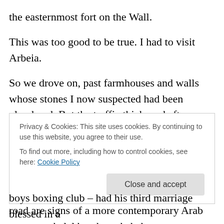the easternmost fort on the Wall.
This was too good to be true. I had to visit Arbeia.
So we drove on, past farmhouses and walls whose stones I now suspected had been plundered. But the traffic thickened after Corbridge, and soon we weren't any longer in the wild countryside. Our route took us into the high stone centre of Newcastle, bridged the River Tyne to Gateshead, and then led all the way to the sea at South Shields. Along the road are signs of a more contemporary Arab presence: halal butchers, kebab restaurants, women
Privacy & Cookies: This site uses cookies. By continuing to use this website, you agree to their use.
To find out more, including how to control cookies, see here: Cookie Policy
boys boxing club – had his third marriage blessed in a